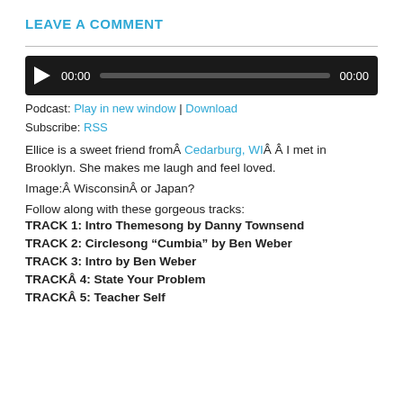LEAVE A COMMENT
[Figure (other): Audio player with play button, time display 00:00, progress bar, and end time 00:00 on dark background]
Podcast: Play in new window | Download
Subscribe: RSS
Ellice is a sweet friend fromÂ Cedarburg, WIÂ Â I met in Brooklyn. She makes me laugh and feel loved.
Image:Â WisconsinÂ or Japan?
Follow along with these gorgeous tracks:
TRACK 1: Intro Themesong by Danny Townsend
TRACK 2: Circlesong â€œCumbiaâ€ by Ben Weber
TRACK 3: Intro by Ben Weber
TRACKÂ 4: State Your Problem
TRACKÂ 5: Teacher Self